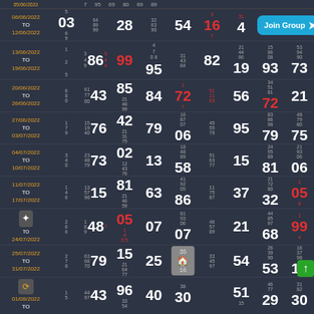| Date | N1 | N2 | N3 | N4 | N5 | N6 | N7 | N8 | N9 |
| --- | --- | --- | --- | --- | --- | --- | --- | --- | --- |
| 06/06/2022 TO 12/06/2022 | 03 | 28 | 54 | 16 | 4 | [Join Group] | 5 |
| 13/06/2022 TO 19/06/2022 | 86 | 99 | 95 | 82 | 19 | 93 | 73 |
| 20/06/2022 TO 26/06/2022 | 43 | 85 | 84 | 72 | 56 | 72 | 21 |
| 27/06/2022 TO 03/07/2022 | 76 | 42 | 79 | 06 | 95 | 79 | 75 |
| 04/07/2022 TO 10/07/2022 | 73 | 02 | 13 | 58 | 15 | 81 | 06 |
| 11/07/2022 TO 17/07/2022 | 15 | 81 | 63 | 86 | 37 | 32 | 05 |
| 18/07/2022 TO 24/07/2022 | 48 | 05 | 07 | 07 | 21 | 68 | 99 |
| 25/07/2022 TO 31/07/2022 | 79 | 15 | 25 | 96 | 54 | 53 | 10 |
| 01/08/2022 TO ... | 43 | 96 | 40 | 30 | 51 | 29 | 30 |